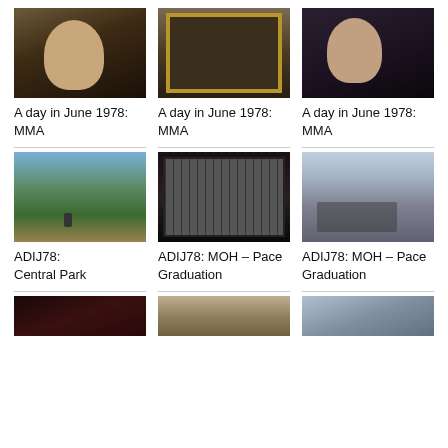[Figure (photo): Portrait painting of a man in dark coat with white cravat, classical style]
A day in June 1978: MMA
[Figure (photo): Painting of figures on a balcony, dark tones, framed in gold, museum display]
A day in June 1978: MMA
[Figure (photo): Portrait painting of a woman in black dress, Dutch/Flemish style]
A day in June 1978: MMA
[Figure (photo): Photo of Central Park with city skyline in background, people playing on grass]
ADIJ78: Central Park
[Figure (photo): Dark interior photo through large glass windows showing crowded space below]
ADIJ78: MOH – Pace Graduation
[Figure (photo): Outdoor photo of three men standing together in front of modern building]
ADIJ78: MOH – Pace Graduation
[Figure (photo): Partial photo, dark tones, cropped at bottom of page]
[Figure (photo): Partial photo, outdoor scene with warm tones, cropped at bottom of page]
[Figure (photo): Partial photo, outdoor scene with person in graduation cap, cropped at bottom of page]